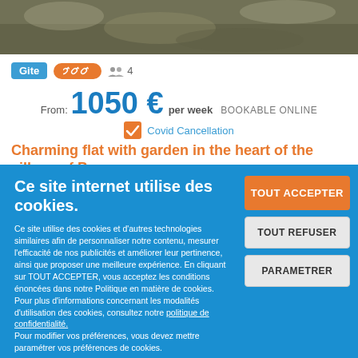[Figure (photo): Outdoor photo strip at top of page showing garden/nature scene]
Gite  🔑🔑🔑  👥 4
From: 1050 €  per week  BOOKABLE ONLINE
✔ Covid Cancellation
Charming flat with garden in the heart of the village of P...
Ce site internet utilise des cookies.
Ce site utilise des cookies et d'autres technologies similaires afin de personnaliser notre contenu, mesurer l'efficacité de nos publicités et améliorer leur pertinence, ainsi que proposer une meilleure expérience. En cliquant sur TOUT ACCEPTER, vous acceptez les conditions énoncées dans notre Politique en matière de cookies.
Pour plus d'informations concernant les modalités d'utilisation des cookies, consultez notre politique de confidentialité.
Pour modifier vos préférences, vous devez mettre paramétrer vos préférences de cookies.
TOUT ACCEPTER
TOUT REFUSER
PARAMETRER